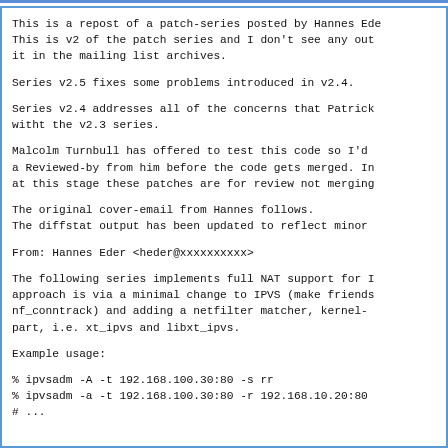This is a repost of a patch-series posted by Hannes Ede
This is v2 of the patch series and I don't see any out
it in the mailing list archives.

Series v2.5 fixes some problems introduced in v2.4.

Series v2.4 addresses all of the concerns that Patrick
witht the v2.3 series.

Malcolm Turnbull has offered to test this code so I'd
a Reviewed-by from him before the code gets merged. In
at this stage these patches are for review not merging

The original cover-email from Hannes follows.
The diffstat output has been updated to reflect minor

From:    Hannes Eder <heder@xxxxxxxxxx>

The following series implements full NAT support for I
approach is via a minimal change to IPVS (make friends
nf_conntrack) and adding a netfilter matcher, kernel-
part, i.e. xt_ipvs and libxt_ipvs.

Example usage:

% ipvsadm -A -t 192.168.100.30:80 -s rr
% ipvsadm -a -t 192.168.100.30:80 -r 192.168.10.20:80
# ...